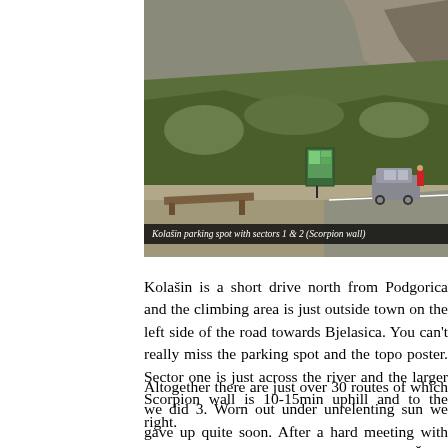[Figure (photo): Kolašin parking spot with topo information board and parked cars beside a road, rocky cliff and hillside vegetation in background]
Kolašin parking spot with sectors 1 & 2 (Scorpion wall)
Kolašin is a short drive north from Podgorica and the climbing area is just outside town on the left side of the road towards Bjelasica. You can't really miss the parking spot and the topo poster. Sector one is just across the river and the larger Scorpion wall is 10-15min uphill and to the right.
Altogether there are just over 30 routes of which we did 3. Worn out under unrelenting sun we gave up quite soon. After a hard meeting with the wall coming down from Dancing with Šega, I really didn't feel like doing